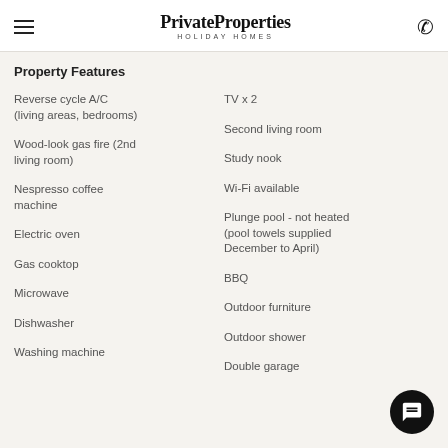PrivateProperties HOLIDAY HOMES
Property Features
Reverse cycle A/C (living areas, bedrooms)
TV x 2
Wood-look gas fire (2nd living room)
Second living room
Study nook
Nespresso coffee machine
Wi-Fi available
Plunge pool - not heated (pool towels supplied December to April)
Electric oven
Gas cooktop
BBQ
Microwave
Outdoor furniture
Dishwasher
Outdoor shower
Washing machine
Double garage